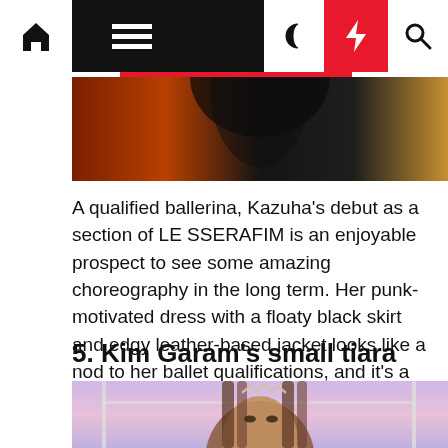Navigation bar with home, menu, dark mode, lightning, and search icons
[Figure (photo): Partial cropped photo showing a person with dark hair against warm orange/amber tones]
A qualified ballerina, Kazuha's debut as a section of LE SSERAFIM is an enjoyable prospect to see some amazing choreography in the long term. Her punk-motivated dress with a floaty black skirt and edgy leather-based jacket looks like a nod to her ballet qualifications, and it's a great blend of feminine and masculine designs.
5. Kim Garam's small tiara
[Figure (photo): Photo of Kim Garam wearing a small tiara hair accessory, with long straight brown hair, against a pastel purple/pink background with window frame visible]